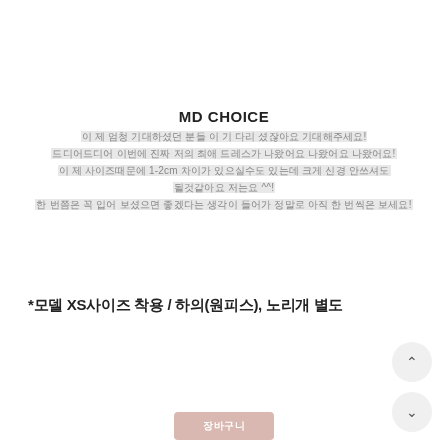MD CHOICE
이 제 엄청 기대하셨던 분들 이 기 다리 셨잖아요 기대해주세요!
드디어드디어 이번에 진짜 저의 최애 드레스가 나왔어요 나왔어요 나왔어요!
이 제 사이즈때문에 1-2cm 차이가 있으실수도 있는데 크게 신경 안쓰셔도
될것같아요 저는요 ^^!
한 번쯤은 꼭 입어 보셨으면 좋겠다는 생각이 들어가 정말로 아직 한 번씩은 보세요!
*모델 XS사이즈 착용 / 하의(원피스), 노리개 별도